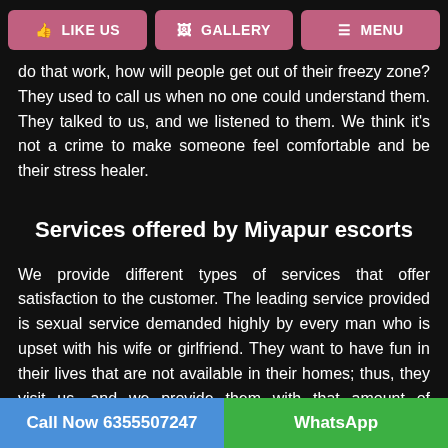LIKE US | GALLERY | MENU
do that work, how will people get out of their freezy zone? They used to call us when no one could understand them. They talked to us, and we listened to them. We think it's not a crime to make someone feel comfortable and be their stress healer.
Services offered by Miyapur escorts
We provide different types of services that offer satisfaction to the customer. The leading service provided is sexual service demanded highly by every man who is upset with his wife or girlfriend. They want to have fun in their lives that are not available in their homes; thus, they visit us, and we provide them with that amount of satisfaction. Every man who wants entertainment sees us. We let them enjoy a particular period for which they pay us. We show them some dance and singing if they are willing to know that
Call Now 6355507247 | WhatsApp